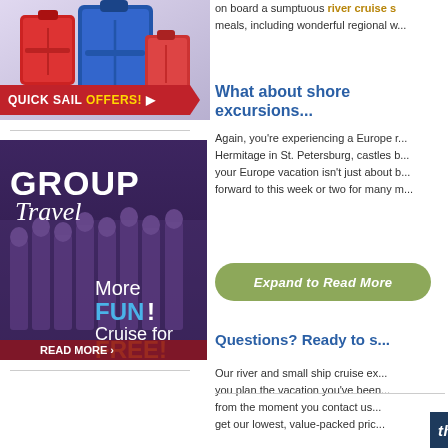[Figure (photo): Colorful luggage/suitcases stacked, red and blue tones]
[Figure (infographic): Quick Sail Offers banner in red with gold arrow]
[Figure (photo): Group Travel promotional image showing terracotta warriors with text: GROUP Travel More FUN! Cruise for FREE! READ MORE]
on board a sumptuous river cruise s... meals, including wonderful regional w...
What about shore excursions...
Again, you're experiencing a Europe r... Hermitage in St. Petersburg, castles b... your Europe vacation isn't just about b... forward to this week or two for many m...
[Figure (infographic): Green rounded button: Expand to Read More]
Questions? Ready to s...
Our river and small ship cruise ex... you plan the vacation you've been... from the moment you contact us... get our lowest, value-packed pric...
the INSIDE | Sig...